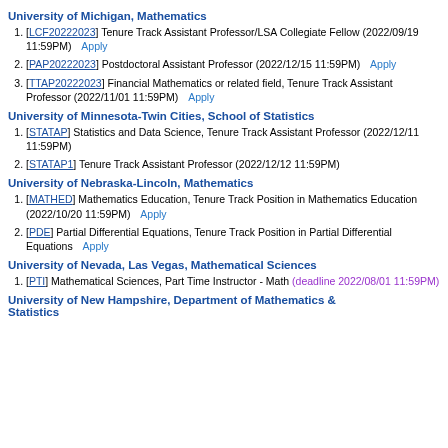University of Michigan, Mathematics
[LCF20222023] Tenure Track Assistant Professor/LSA Collegiate Fellow (2022/09/19 11:59PM) Apply
[PAP20222023] Postdoctoral Assistant Professor (2022/12/15 11:59PM) Apply
[TTAP20222023] Financial Mathematics or related field, Tenure Track Assistant Professor (2022/11/01 11:59PM) Apply
University of Minnesota-Twin Cities, School of Statistics
[STATAP] Statistics and Data Science, Tenure Track Assistant Professor (2022/12/11 11:59PM)
[STATAP1] Tenure Track Assistant Professor (2022/12/12 11:59PM)
University of Nebraska-Lincoln, Mathematics
[MATHED] Mathematics Education, Tenure Track Position in Mathematics Education (2022/10/20 11:59PM) Apply
[PDE] Partial Differential Equations, Tenure Track Position in Partial Differential Equations Apply
University of Nevada, Las Vegas, Mathematical Sciences
[PTI] Mathematical Sciences, Part Time Instructor - Math (deadline 2022/08/01 11:59PM)
University of New Hampshire, Department of Mathematics & Statistics